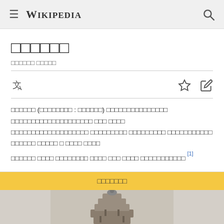≡ WIKIPEDIA 🔍
ᐧᐧᐧᐧᐧᐧ
ᐧᐧᐧᐧᐧᐧ ᐧᐧᐧᐧᐧ
ᐧᐧᐧᐧᐧᐧ (ᐧᐧᐧᐧᐧᐧᐧᐧ : ᐧᐧᐧᐧᐧᐧ) ᐧᐧᐧᐧᐧᐧᐧᐧᐧᐧᐧᐧᐧᐧᐧ ᐧᐧᐧᐧᐧᐧᐧᐧᐧᐧᐧᐧᐧᐧᐧᐧᐧᐧᐧᐧ ᐧᐧᐧ ᐧᐧᐧᐧ ᐧᐧᐧᐧᐧᐧᐧᐧᐧᐧᐧᐧᐧᐧᐧᐧᐧᐧᐧ ᐧᐧᐧᐧᐧᐧᐧᐧᐧ ᐧᐧᐧᐧᐧᐧᐧᐧᐧ ᐧᐧᐧᐧᐧᐧᐧᐧᐧᐧᐧ ᐧᐧᐧᐧᐧᐧ ᐧᐧᐧᐧᐧ ᐧ ᐧᐧᐧᐧ ᐧᐧᐧᐧ ᐧᐧᐧᐧᐧᐧ ᐧᐧᐧᐧ ᐧᐧᐧᐧᐧᐧᐧᐧ ᐧᐧᐧᐧ ᐧᐧᐧ ᐧᐧᐧᐧ ᐧᐧᐧᐧᐧᐧᐧᐧᐧᐧᐧ [1]
ᐧᐧᐧᐧᐧᐧᐧ
[Figure (photo): Historic photograph of an ornate temple tower/finial with multiple tiers, intricate carvings, and decorative figures, shown in sepia/grayscale tone against a light background.]